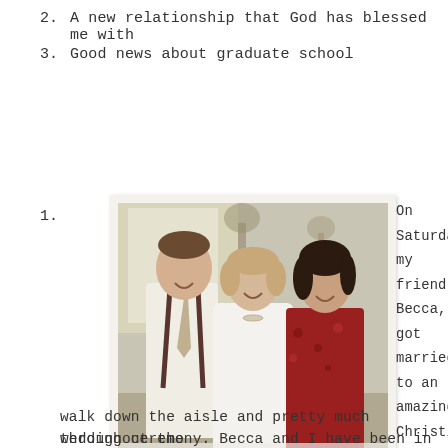2. A new relationship that God has blessed me with
3. Good news about graduate school
1.
[Figure (photo): Three people posing together at a wedding — a man in white shirt with suspenders and tie, a woman in a white wedding dress, and a woman in a red floral dress. They are smiling indoors near windows.]
On Saturday my friend, Becca, got married to an amazing Christian guy, and I cried from the moment I saw her start to walk down the aisle and pretty much throughout the wedding ceremony. Becca and I have been in an S-